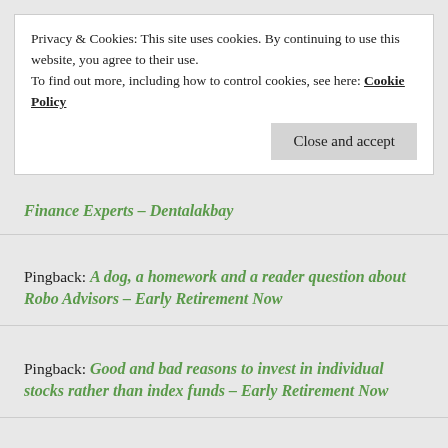Privacy & Cookies: This site uses cookies. By continuing to use this website, you agree to their use.
To find out more, including how to control cookies, see here: Cookie Policy
Close and accept
Finance Experts – Dentalakbay
Pingback: A dog, a homework and a reader question about Robo Advisors – Early Retirement Now
Pingback: Good and bad reasons to invest in individual stocks rather than index funds – Early Retirement Now